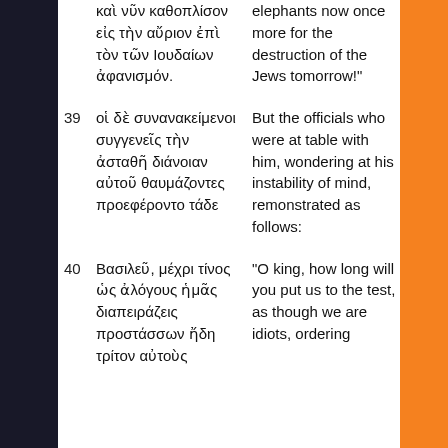καὶ νῦν καθοπλίσον εἰς τὴν αὔριον ἐπὶ τὸν τῶν Ιουδαίων ἀφανισμόν. | elephants now once more for the destruction of the Jews tomorrow!"
39 οἱ δὲ συνανακείμενοι συγγενεῖς τὴν ἀσταθῆ διάνοιαν αὐτοῦ θαυμάζοντες προεφέροντο τάδε | But the officials who were at table with him, wondering at his instability of mind, remonstrated as follows:
40 Βασιλεῦ, μέχρι τίνος ὡς ἀλόγους ἡμᾶς διαπειράζεις προστάσσων ἤδη τρίτον αὐτοὺς | "O king, how long will you put us to the test, as though we are idiots, ordering